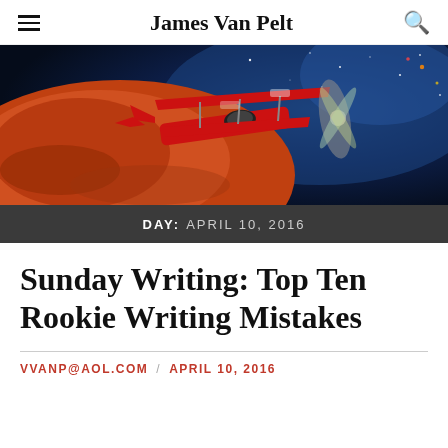James Van Pelt
[Figure (photo): A red biplane flying through a dramatic space scene with a planet (Mars-like) and a starry blue nebula background.]
DAY: APRIL 10, 2016
Sunday Writing: Top Ten Rookie Writing Mistakes
VVANP@AOL.COM / APRIL 10, 2016